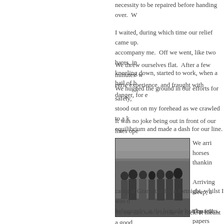necessity to be repaired before handing over. W
I waited, during which time our relief came up. accompany me. Off we went, like two hares, in kneeling down, started to work, when a hail of b
We threw ourselves flat. After a few minutes' w eerie experience, and fraught with danger, for e
We hugged the ground in our efforts for safety, stood out on my forehead as we crawled to a k equilibrium and made a dash for our line.
It was no joke being out in front of our lines ope the ground.
[Figure (photo): Black and white photograph of a group of soldiers or military officers standing outdoors, wearing long coats and military uniforms, in what appears to be a field or camp setting.]
We arri horses thankin
Arriving sleep, a
The foll papers camp at Gramatna for a fortnight, whilst I was d heliography at the brigade headquarters.
To me this was a stroke of luck: it meant a good month, but little did I know what lay beyond it a